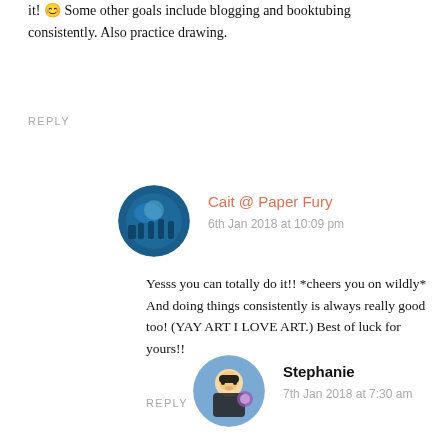it! 😊 Some other goals include blogging and booktubing consistently. Also practice drawing.
REPLY
Cait @ Paper Fury
6th Jan 2018 at 10:09 pm
Yesss you can totally do it!! *cheers you on wildly* And doing things consistently is always really good too! (YAY ART I LOVE ART.) Best of luck for yours!!
REPLY
Stephanie
7th Jan 2018 at 7:30 am
Thankyou! 😊